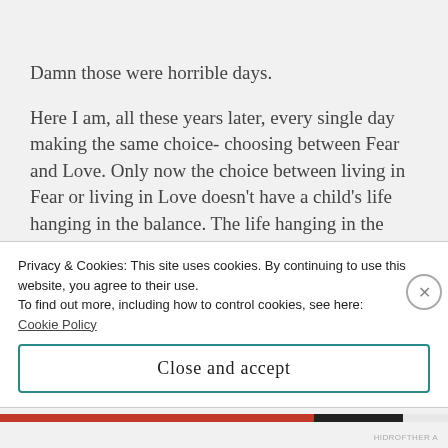Damn those were horrible days.
Here I am, all these years later, every single day making the same choice- choosing between Fear and Love. Only now the choice between living in Fear or living in Love doesn’t have a child’s life hanging in the balance. The life hanging in the balance is my own. Live in Fear or live in Love? Seems kind of selfish to decide what to choose
Privacy & Cookies: This site uses cookies. By continuing to use this website, you agree to their use.
To find out more, including how to control cookies, see here:
Cookie Policy
Close and accept
HIDROFTHER A